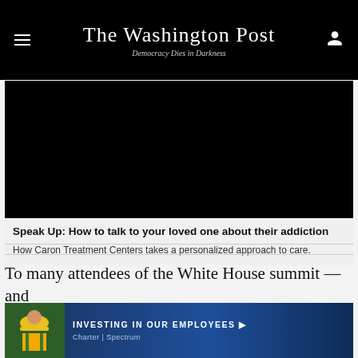The Washington Post — Democracy Dies in Darkness
[Figure (screenshot): Black video player rectangle (ad/sponsored video content)]
Speak Up: How to talk to your loved one about their addiction
How Caron Treatment Centers takes a personalized approach to care.
To many attendees of the White House summit — and
[Figure (photo): Charter Spectrum banner advertisement: 'INVESTING IN OUR EMPLOYEES' with a worker in safety vest and hard hat on the left side]